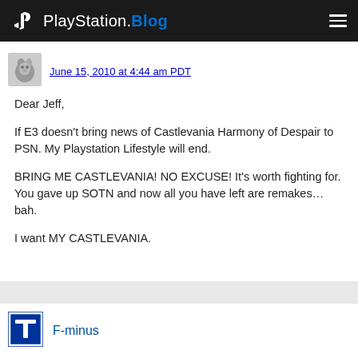PlayStation.Blog
June 15, 2010 at 4:44 am PDT
Dear Jeff,

If E3 doesn't bring news of Castlevania Harmony of Despair to PSN. My Playstation Lifestyle will end.

BRING ME CASTLEVANIA! NO EXCUSE! It's worth fighting for. You gave up SOTN and now all you have left are remakes…bah.

I want MY CASTLEVANIA.
F-minus